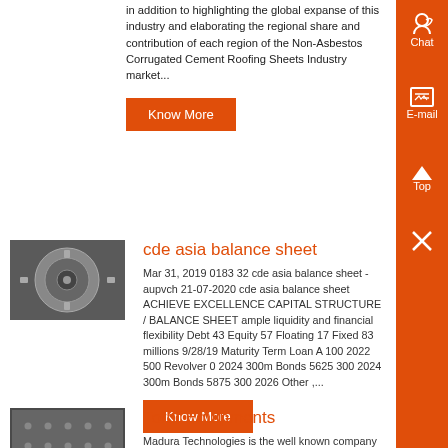in addition to highlighting the global expanse of this industry and elaborating the regional share and contribution of each region of the Non-Asbestos Corrugated Cement Roofing Sheets Industry market...
Know More
cde asia balance sheet
[Figure (photo): Close-up of a metallic disc/flywheel component]
Mar 31, 2019 0183 32 cde asia balance sheet - aupvch 21-07-2020 cde asia balance sheet ACHIEVE EXCELLENCE CAPITAL STRUCTURE / BALANCE SHEET ample liquidity and financial flexibility Debt 43 Equity 57 Floating 17 Fixed 83 millions 9/28/19 Maturity Term Loan A 100 2022 500 Revolver 0 2024 300m Bonds 5625 300 2024 300m Bonds 5875 300 2026 Other ,...
Know More
Torot Equipments
[Figure (photo): Close-up of a perforated or studded surface/panel]
Madura Technologies is the well known company which is